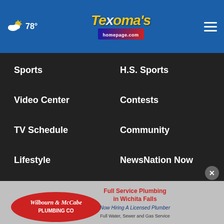Texoma's homepage.com — 78° weather, navigation header
Sports
H.S. Sports
Video Center
Contests
TV Schedule
Community
Lifestyle
NewsNation Now
About Us
KFDX EEO Report
KFDX FCC Public File
KJTL FCC...
[Figure (photo): Wilbourn & McCabe Plumbing Co advertisement — Full Service Plumbing in Wichita Falls, Now Hiring A Licensed Plumber, Full Water, Sewer and Gas Service]